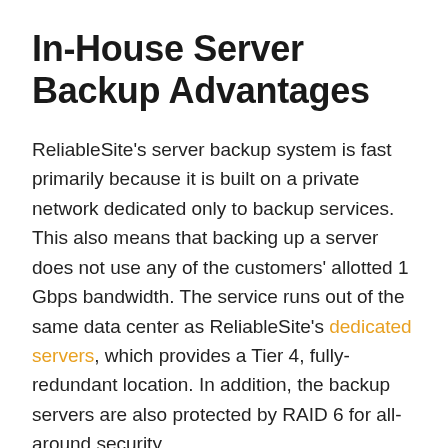In-House Server Backup Advantages
ReliableSite's server backup system is fast primarily because it is built on a private network dedicated only to backup services. This also means that backing up a server does not use any of the customers' allotted 1 Gbps bandwidth. The service runs out of the same data center as ReliableSite's dedicated servers, which provides a Tier 4, fully-redundant location. In addition, the backup servers are also protected by RAID 6 for all-around security.